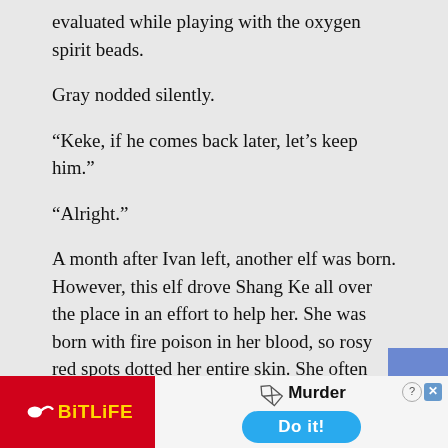evaluated while playing with the oxygen spirit beads.
Gray nodded silently.
“Keke, if he comes back later, let’s keep him.”
“Alright.”
A month after Ivan left, another elf was born. However, this elf drove Shang Ke all over the place in an effort to help her. She was born with fire poison in her blood, so rosy red spots dotted her entire skin. She often had headaches and ran fevers, and she couldn’t sleep at night.
In order to cure her fire poison, Shang Ke went deep into the forest every day to look for spirit grass.
It was a pity that all he could do was relieve her pa…
[Figure (other): Advertisement banner for BitLife mobile game featuring logo with sperm icon on red background, text 'Murder Do it!' on right side with blue button]